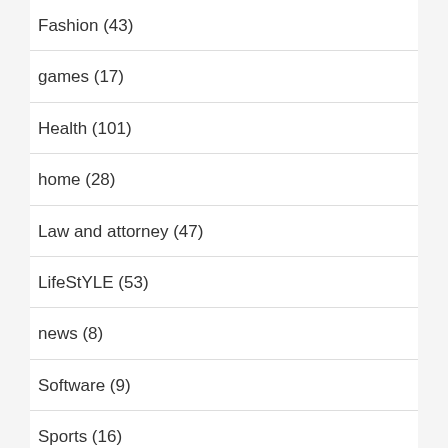Fashion (43)
games (17)
Health (101)
home (28)
Law and attorney (47)
LifeStYLE (53)
news (8)
Software (9)
Sports (16)